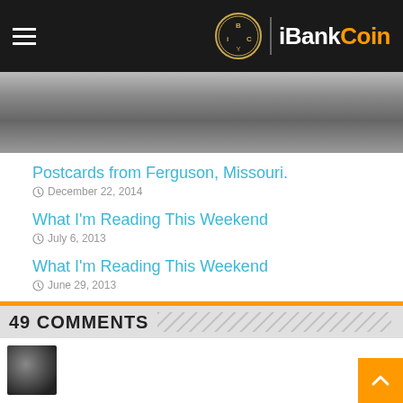iBankCoin
[Figure (photo): Black and white aerial or landscape photograph, partially visible]
Postcards from Ferguson, Missouri.
December 22, 2014
What I'm Reading This Weekend
July 6, 2013
What I'm Reading This Weekend
June 29, 2013
49 COMMENTS
[Figure (photo): Small avatar photo of a person]
[Figure (screenshot): Petco advertisement: Your One-Stop Summer Pet Shop]